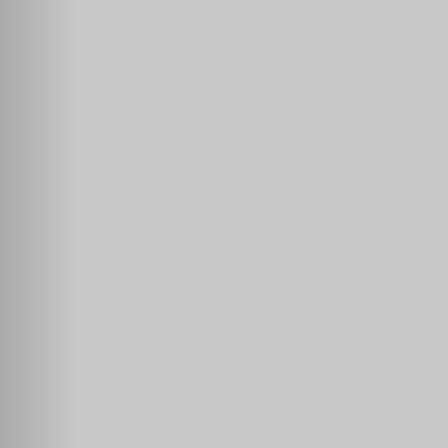#herpes Jar wi
tom44   5 0
Yellow p
HERP RESCUE 1
Oregano Oil, 120 0
verchmarco poste
[Figure (photo): Yellow powder image thumbnail]
✅ Marco Verch is
Please link to the o
Recent Uploads ta